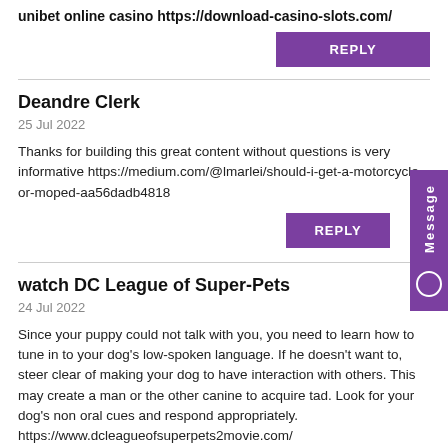unibet online casino https://download-casino-slots.com/
REPLY
Deandre Clerk
25 Jul 2022
Thanks for building this great content without questions is very informative https://medium.com/@lmarlei/should-i-get-a-motorcycle-or-moped-aa56dadb4818
REPLY
watch DC League of Super-Pets
24 Jul 2022
Since your puppy could not talk with you, you need to learn how to tune in to your dog's low-spoken language. If he doesn't want to, steer clear of making your dog to have interaction with others. This may create a man or the other canine to acquire tad. Look for your dog's non oral cues and respond appropriately. https://www.dcleagueofsuperpets2movie.com/
REPLY